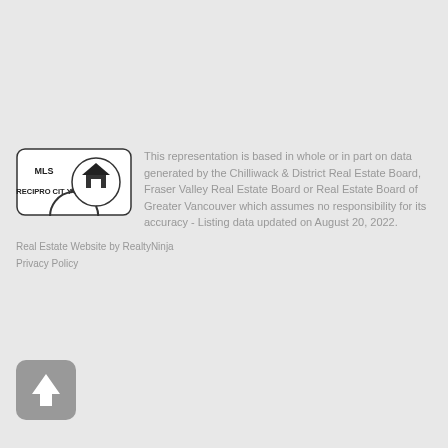[Figure (logo): MLS Reciprocity logo - rectangular badge with rounded corners, showing house icon and text MLS RECIPROCITY]
This representation is based in whole or in part on data generated by the Chilliwack & District Real Estate Board, Fraser Valley Real Estate Board or Real Estate Board of Greater Vancouver which assumes no responsibility for its accuracy - Listing data updated on August 20, 2022.
Real Estate Website by RealtyNinja
Privacy Policy
[Figure (illustration): Rounded square scroll-to-top button with upward arrow icon, gray color]